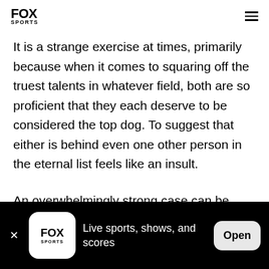FOX SPORTS
It is a strange exercise at times, primarily because when it comes to squaring off the truest talents in whatever field, both are so proficient that they each deserve to be considered the top dog. To suggest that either is behind even one other person in the eternal list feels like an insult.
An overwhelmingly strong case can be made for both men, the metronomic American swimmer and the
[Figure (infographic): App install banner: Fox Sports logo, text 'Live sports, shows, and scores', and Open button]